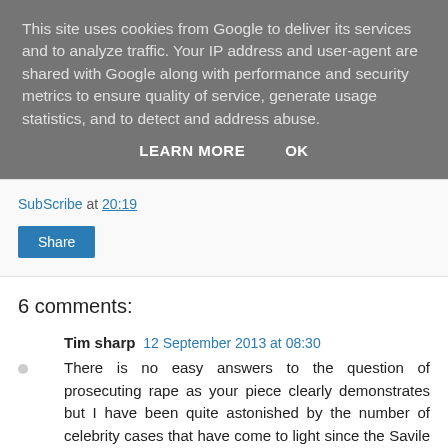This site uses cookies from Google to deliver its services and to analyze traffic. Your IP address and user-agent are shared with Google along with performance and security metrics to ensure quality of service, generate usage statistics, and to detect and address abuse.
LEARN MORE   OK
SubScribe at 20:19
Share
6 comments:
Tim sharp  12 September 2013 at 08:30
There is no easy answers to the question of prosecuting rape as your piece clearly demonstrates but I have been quite astonished by the number of celebrity cases that have come to light since the Savile enquiries started and it